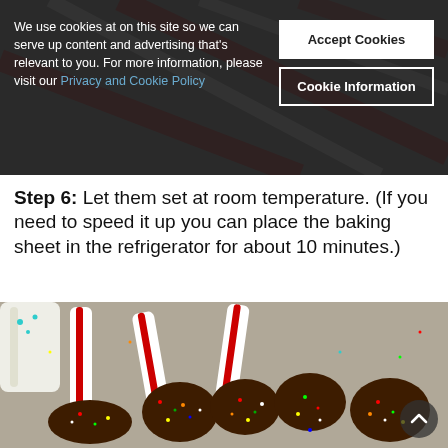[Figure (screenshot): Cookie consent overlay on a website showing candy canes in the background. Two buttons: 'Accept Cookies' and 'Cookie Information'. Text reads: We use cookies at on this site so we can serve up content and advertising that's relevant to you. For more information, please visit our Privacy and Cookie Policy]
Step 6:  Let them set at room temperature.  (If you need to speed it up you can place the baking sheet in the refrigerator for about 10 minutes.)
[Figure (photo): Photo of chocolate-dipped candy canes covered in rainbow sprinkles laid out on a baking sheet, alongside a white chocolate and teal sprinkle candy cane.]